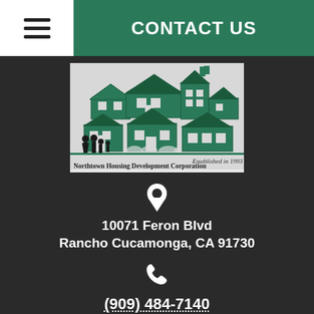CONTACT US
[Figure (logo): Northtown Housing Development Corporation logo showing illustrated houses and family silhouettes, with text 'Established in 1993' and 'Northtown Housing Development Corporation']
10071 Feron Blvd
Rancho Cucamonga, CA 91730
(909) 484-7140